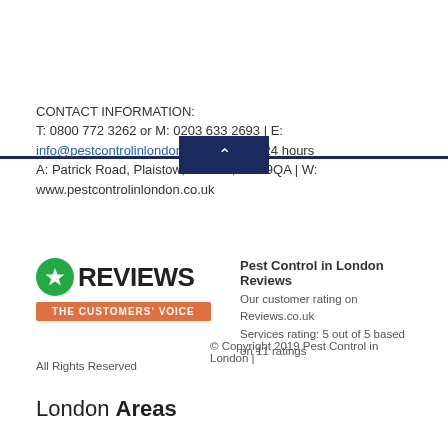[Figure (other): Dark navy blue horizontal bar with a centered navy button containing a white upward chevron arrow]
CONTACT INFORMATION:
T: 0800 772 3262 or M: 0203 633 2693 | E:
info@pestcontrolinlondon.co.uk | Open 24 hours
A: Patrick Road, Plaistow, London, E13 9QA | W:
www.pestcontrolinlondon.co.uk
[Figure (logo): Reviews.co.uk logo: green circle with white star, REVIEWS text in bold black, THE CUSTOMERS' VOICE in orange banner below]
Pest Control in London Reviews
Our customer rating on Reviews.co.uk
Services rating: 5 out of 5 based on 11 ratings
© Copyright 2019 Pest Control in London |
All Rights Reserved
London Areas